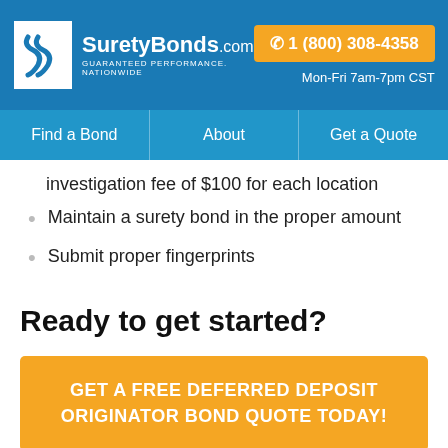SuretyBonds.com — GUARANTEED PERFORMANCE. NATIONWIDE | 1 (800) 308-4358 | Mon-Fri 7am-7pm CST
investigation fee of $100 for each location
Maintain a surety bond in the proper amount
Submit proper fingerprints
Ready to get started?
GET A FREE DEFERRED DEPOSIT ORIGINATOR BOND QUOTE TODAY!